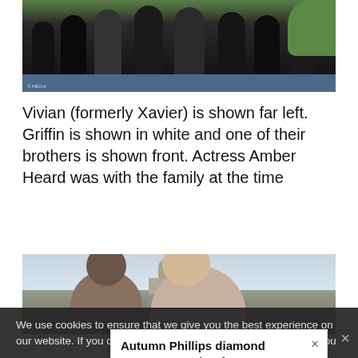[Figure (photo): Group photo showing several people standing outdoors. Photo has a MEGA watermark in the bottom left corner.]
Vivian (formerly Xavier) is shown far left. Griffin is shown in white and one of their brothers is shown front. Actress Amber Heard was with the family at the time
[Figure (photo): Photo showing two people outdoors with a building with a dome visible in the background.]
We use cookies to ensure that we give you the best experience on our website. If you continue to use this site we will assume that you
Autumn Phillips diamond engagement ring from ex-husband Peter worth...